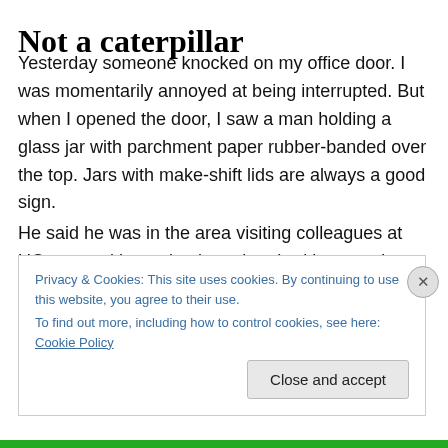Not a caterpillar
Yesterday someone knocked on my office door. I was momentarily annoyed at being interrupted. But when I opened the door, I saw a man holding a glass jar with parchment paper rubber-banded over the top. Jars with make-shift lids are always a good sign.
He said he was in the area visiting colleagues at UConn, and he noticed my door had bugs on it, so would I be interested in the biggest spider he’s ever seen?
Privacy & Cookies: This site uses cookies. By continuing to use this website, you agree to their use.
To find out more, including how to control cookies, see here: Cookie Policy